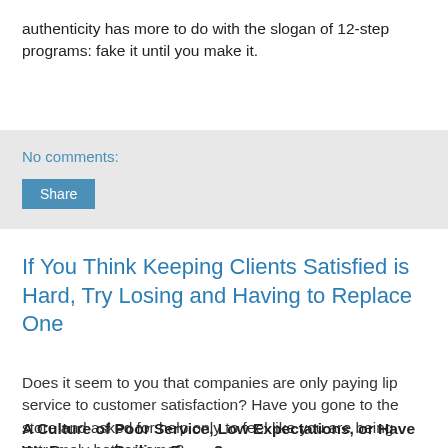authenticity has more to do with the slogan of 12-step programs: fake it until you make it.
No comments:
Share
If You Think Keeping Clients Satisfied is Hard, Try Losing and Having to Replace One
Does it seem to you that companies are only paying lip service to customer satisfaction? Have you gone to the store and asked for help only to feel like you are being extremely bothersome?
A Culture of Poor Service, Low Expectations, or Have We Become Roiling Frogs?